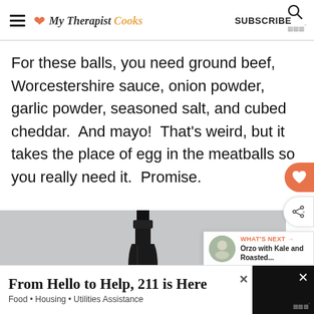My Therapist Cooks | SUBSCRIBE
For these balls, you need ground beef, Worcestershire sauce, onion powder, garlic powder, seasoned salt, and cubed cheddar.  And mayo!  That's weird, but it takes the place of egg in the meatballs so you really need it.  Promise.
[Figure (photo): A wine bottle on a light gray background, partially visible from below the neck down.]
WHAT'S NEXT → Orzo with Kale and Roasted...
From Hello to Help, 211 is Here
Food • Housing • Utilities Assistance